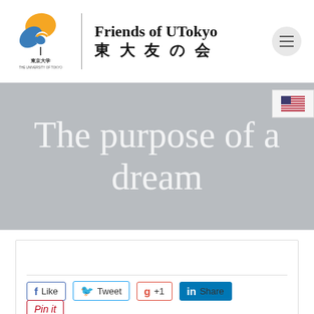[Figure (logo): University of Tokyo ginkgo leaf logo with blue and gold colors, with Japanese text 東京大学 THE UNIVERSITY OF TOKYO]
Friends of UTokyo 東大友の会
[Figure (screenshot): Hero banner with light grey background and text: The purpose of a dream]
[Figure (other): US flag icon in a white box]
Social sharing buttons: Like, Tweet, g +1, Share, Pin it